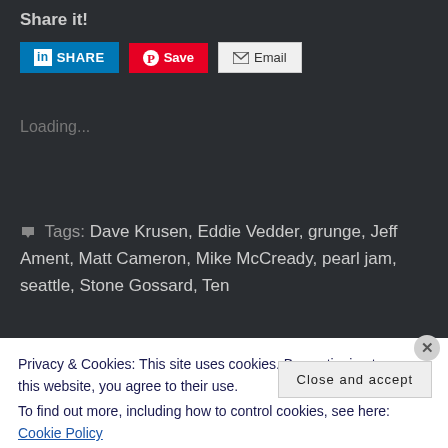Share it!
[Figure (screenshot): Social sharing buttons: LinkedIn SHARE button (blue), Pinterest Save button (red), Email button (light gray)]
Loading...
Tags: Dave Krusen, Eddie Vedder, grunge, Jeff Ament, Matt Cameron, Mike McCready, pearl jam, seattle, Stone Gossard, Ten
Privacy & Cookies: This site uses cookies. By continuing to use this website, you agree to their use.
To find out more, including how to control cookies, see here: Cookie Policy
Close and accept